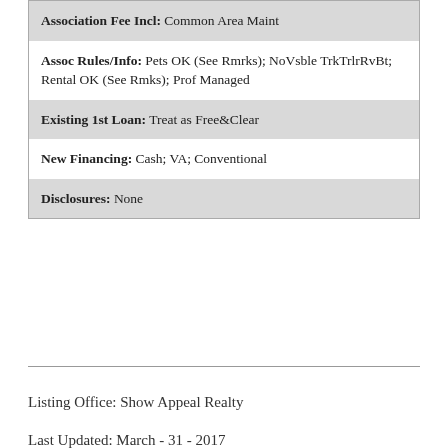| Association Fee Incl: Common Area Maint |
| Assoc Rules/Info: Pets OK (See Rmrks); NoVsble TrkTrlrRvBt; Rental OK (See Rmks); Prof Managed |
| Existing 1st Loan: Treat as Free&Clear |
| New Financing: Cash; VA; Conventional |
| Disclosures: None |
Listing Office: Show Appeal Realty
Last Updated: March - 31 - 2017